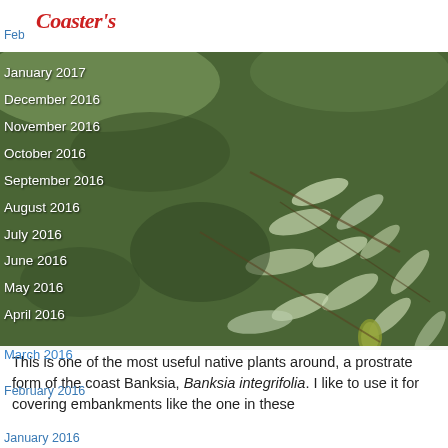Coaster's
[Figure (photo): Close-up photo of prostrate coast Banksia (Banksia integrifolia) with silver-green leaves and foliage covering an embankment]
January 2017
December 2016
November 2016
October 2016
September 2016
August 2016
July 2016
June 2016
May 2016
April 2016
March 2016
This is one of the most useful native plants around, a prostrate form of the coast Banksia, Banksia integrifolia. I like to use it for covering embankments like the one in these
February 2016
January 2016